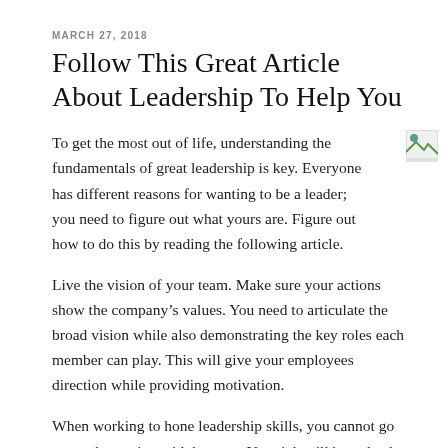MARCH 27, 2018
Follow This Great Article About Leadership To Help You
To get the most out of life, understanding the fundamentals of great leadership is key. Everyone has different reasons for wanting to be a leader; you need to figure out what yours are. Figure out how to do this by reading the following article.
Live the vision of your team. Make sure your actions show the company’s values. You need to articulate the broad vision while also demonstrating the key roles each member can play. This will give your employees direction while providing motivation.
When working to hone leadership skills, you cannot go wrong by staring with honesty. Your job will be to lead